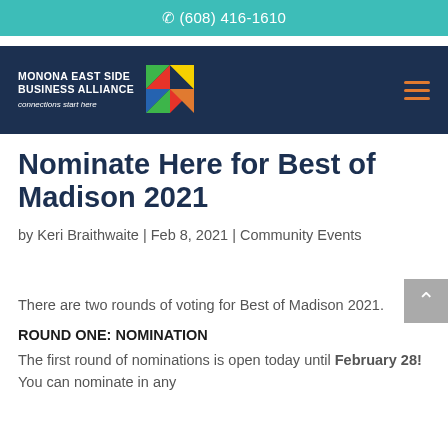(608) 416-1610
[Figure (logo): Monona East Side Business Alliance logo with colorful diamond shape and tagline 'connections start here']
Nominate Here for Best of Madison 2021
by Keri Braithwaite | Feb 8, 2021 | Community Events
There are two rounds of voting for Best of Madison 2021.
ROUND ONE: NOMINATION
The first round of nominations is open today until February 28! You can nominate in any...